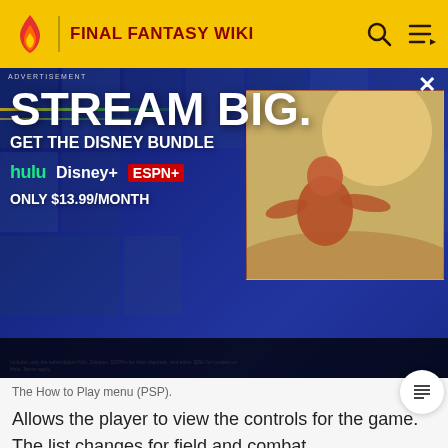FINAL FANTASY WIKI
[Figure (screenshot): Disney Bundle advertisement banner showing 'STREAM BIG. GET THE DISNEY BUNDLE' with Hulu, Disney+, and ESPN+ logos, price '$13.99/MONTH', and a video thumbnail on the right side]
The How to Play menu (PSP).
Allows the player to view the controls for the game. The list changes for field and combat.
Administration Menu
[Figure (screenshot): Bottom portion of a game screenshot showing 'MAIN MENU' text on a dark teal/green decorative background]